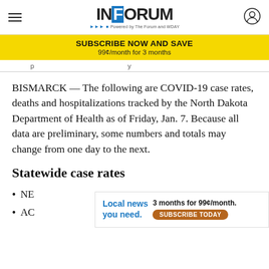INFORUM — Powered by The Forum and WDAY
SUBSCRIBE NOW AND SAVE 99¢/month for 3 months
BISMARCK — The following are COVID-19 case rates, deaths and hospitalizations tracked by the North Dakota Department of Health as of Friday, Jan. 7. Because all data are preliminary, some numbers and totals may change from one day to the next.
Statewide case rates
NE
AC
[Figure (infographic): Advertisement banner: Local news you need. 3 months for 99¢/month. SUBSCRIBE TODAY]